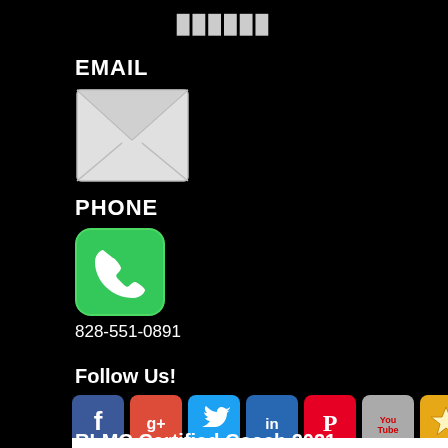[Figure (logo): Partially visible logo text at top of page]
EMAIL
[Figure (illustration): White envelope icon representing email]
PHONE
[Figure (illustration): Green rounded square with white phone handset icon]
828-551-0891
Follow Us!
[Figure (illustration): Row of social media icons: Facebook, Google+, Twitter, LinkedIn, Pinterest, YouTube, Email]
RLMC Certified Coach 2021